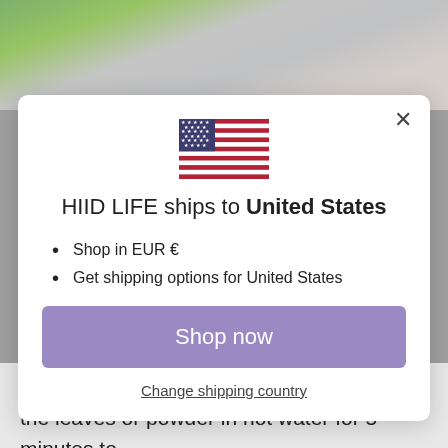[Figure (photo): Background photo showing a bowl with purple/blackberry smoothie bowl with blackberries on top, partially visible at the top of the page behind the modal dialog]
[Figure (illustration): US flag emoji/icon centered in the modal dialog]
HIID LIFE ships to United States
Shop in EUR €
Get shipping options for United States
Shop now
Change shipping country
dough too. Nettle makes a lovely tea. Brew the leaves or powder in hot water for 5 minutes to